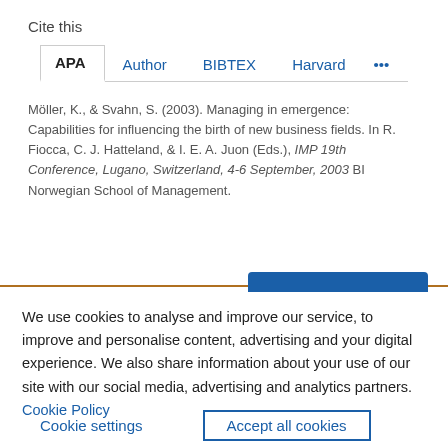Cite this
APA  Author  BIBTEX  Harvard  ...
Möller, K., & Svahn, S. (2003). Managing in emergence: Capabilities for influencing the birth of new business fields. In R. Fiocca, C. J. Hatteland, & I. E. A. Juon (Eds.), IMP 19th Conference, Lugano, Switzerland, 4-6 September, 2003 BI Norwegian School of Management.
We use cookies to analyse and improve our service, to improve and personalise content, advertising and your digital experience. We also share information about your use of our site with our social media, advertising and analytics partners.  Cookie Policy
Cookie settings      Accept all cookies